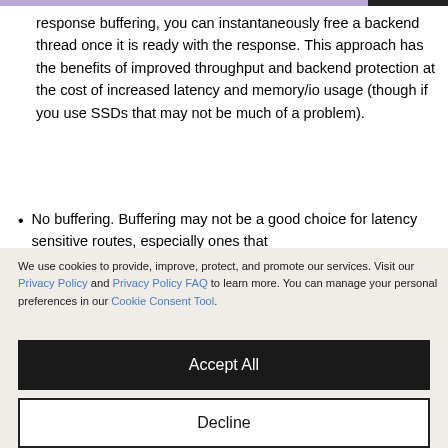response buffering, you can instantaneously free a backend thread once it is ready with the response. This approach has the benefits of improved throughput and backend protection at the cost of increased latency and memory/io usage (though if you use SSDs that may not be much of a problem).
No buffering. Buffering may not be a good choice for latency sensitive routes, especially ones that
We use cookies to provide, improve, protect, and promote our services. Visit our Privacy Policy and Privacy Policy FAQ to learn more. You can manage your personal preferences in our Cookie Consent Tool.
Accept All
Decline